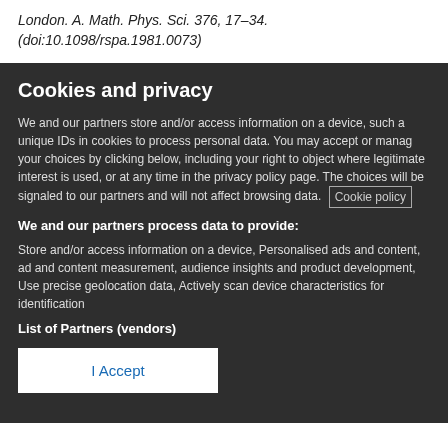London. A. Math. Phys. Sci. 376, 17–34. (doi:10.1098/rspa.1981.0073)
Cookies and privacy
We and our partners store and/or access information on a device, such as unique IDs in cookies to process personal data. You may accept or manage your choices by clicking below, including your right to object where legitimate interest is used, or at any time in the privacy policy page. These choices will be signaled to our partners and will not affect browsing data. Cookie policy
We and our partners process data to provide:
Store and/or access information on a device, Personalised ads and content, ad and content measurement, audience insights and product development, Use precise geolocation data, Actively scan device characteristics for identification
List of Partners (vendors)
I Accept